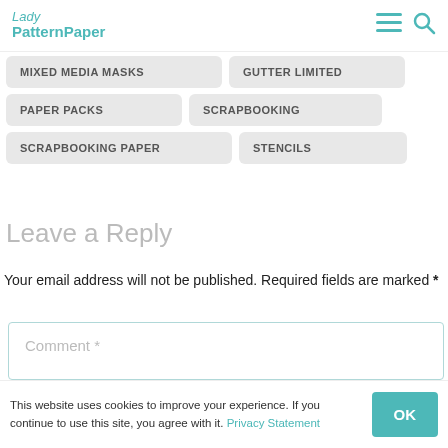Lady PatternPaper
MIXED MEDIA MASKS
GUTTER LIMITED
PAPER PACKS
SCRAPBOOKING
SCRAPBOOKING PAPER
STENCILS
Leave a Reply
Your email address will not be published. Required fields are marked *
Comment *
This website uses cookies to improve your experience. If you continue to use this site, you agree with it. Privacy Statement